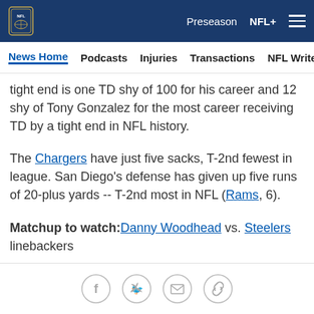NFL logo | Preseason | NFL+ | Menu
News Home | Podcasts | Injuries | Transactions | NFL Writers | Se
tight end is one TD shy of 100 for his career and 12 shy of Tony Gonzalez for the most career receiving TD by a tight end in NFL history.
The Chargers have just five sacks, T-2nd fewest in league. San Diego's defense has given up five runs of 20-plus yards -- T-2nd most in NFL (Rams, 6).
Matchup to watch: Danny Woodhead vs. Steelers linebackers
Social share icons: Facebook, Twitter, Email, Link